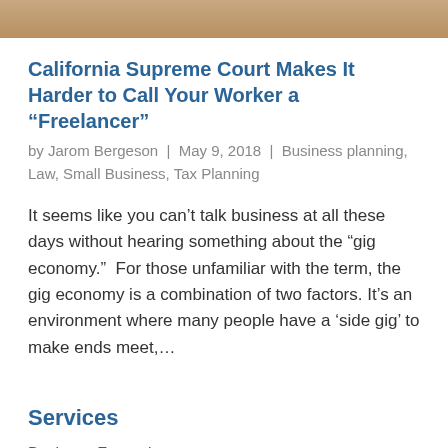[Figure (photo): Partial photo strip at top of page showing a person, cropped]
California Supreme Court Makes It Harder to Call Your Worker a “Freelancer”
by Jarom Bergeson | May 9, 2018 | Business planning, Law, Small Business, Tax Planning
It seems like you can’t talk business at all these days without hearing something about the “gig economy.”  For those unfamiliar with the term, the gig economy is a combination of two factors. It’s an environment where many people have a ‘side gig’ to make ends meet,...
Services
Business Formations
IRA/LLC Entities
Company Maintenance